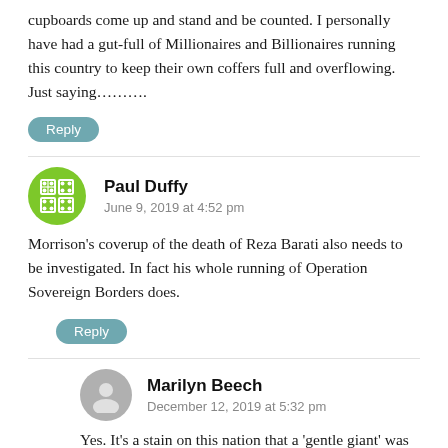cupboards come up and stand and be counted. I personally have had a gut-full of Millionaires and Billionaires running this country to keep their own coffers full and overflowing. Just saying……….
Reply
Paul Duffy
June 9, 2019 at 4:52 pm
Morrison’s coverup of the death of Reza Barati also needs to be investigated. In fact his whole running of Operation Sovereign Borders does.
Reply
Marilyn Beech
December 12, 2019 at 5:32 pm
Yes. It’s a stain on this nation that a ‘gentle giant’ was dragged from his room on 17 February 2014 and murdered by at least four men, including an Australian and a New